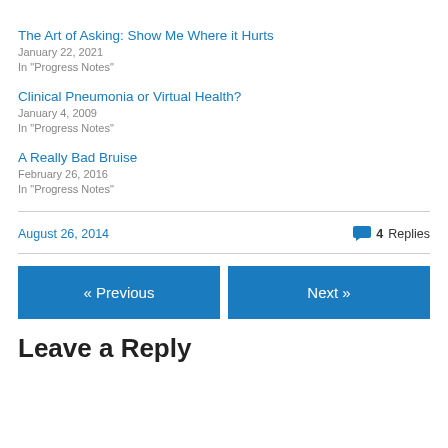The Art of Asking: Show Me Where it Hurts
January 22, 2021
In "Progress Notes"
Clinical Pneumonia or Virtual Health?
January 4, 2009
In "Progress Notes"
A Really Bad Bruise
February 26, 2016
In "Progress Notes"
August 26, 2014
4 Replies
« Previous
Next »
Leave a Reply